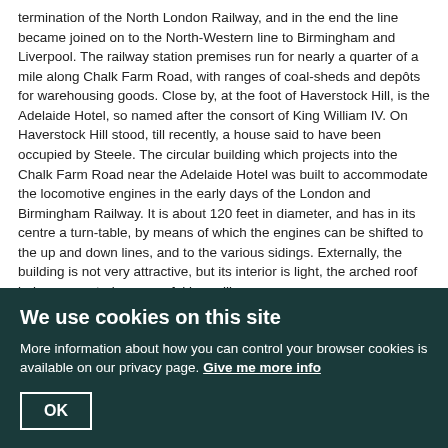termination of the North London Railway, and in the end the line became joined on to the North-Western line to Birmingham and Liverpool. The railway station premises run for nearly a quarter of a mile along Chalk Farm Road, with ranges of coal-sheds and depôts for warehousing goods. Close by, at the foot of Haverstock Hill, is the Adelaide Hotel, so named after the consort of King William IV. On Haverstock Hill stood, till recently, a house said to have been occupied by Steele. The circular building which projects into the Chalk Farm Road near the Adelaide Hotel was built to accommodate the locomotive engines in the early days of the London and Birmingham Railway. It is about 120 feet in diameter, and has in its centre a turn-table, by means of which the engines can be shifted to the up and down lines, and to the various sidings. Externally, the building is not very attractive, but its interior is light, the arched roof being supported on graceful iron pillars.
At the end of Regent's Park Road, close by Chalk Farm Railway Station, is an institution which has achieved a large amount of good in its own especial field of action. The Boys' Home, for such the institution in question is called, was originally established in 1858 in the Euston Road, for the prevention of crime, arresting the destitute child in danger of falling into a criminal life, and training him, by God's blessing, to honest industry; a work which, as experience has shown, can only be successfully done by such voluntary agency. It is, in fact
We use cookies on this site
More information about how you can control your browser cookies is available on our privacy page. Give me more info